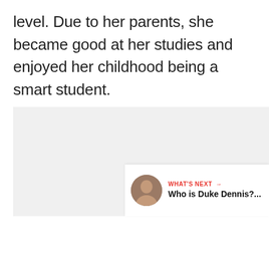level. Due to her parents, she became good at her studies and enjoyed her childhood being a smart student.
[Figure (other): Gray placeholder image area with three dots indicating a loading carousel or image slideshow. Social interaction buttons on the right: a red heart/like button, a count showing '1', and a share button. A 'What's Next' card in the bottom right corner showing a thumbnail and 'Who is Duke Dennis?...' text.]